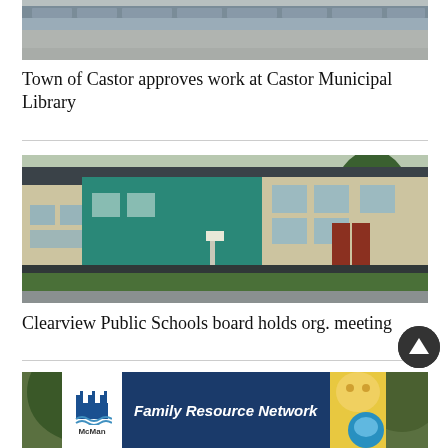[Figure (photo): Top portion of a brick building exterior, partially cropped, showing wall and pavement]
Town of Castor approves work at Castor Municipal Library
[Figure (photo): Modern school building exterior with teal/green facade, beige walls, red entrance doors, trees, and grass lawn — Clearview Public Schools]
Clearview Public Schools board holds org. meeting
[Figure (photo): Outdoor scene with people among trees, partially visible at bottom of page]
[Figure (other): McMan Family Resource Network advertisement banner with logo and photos]